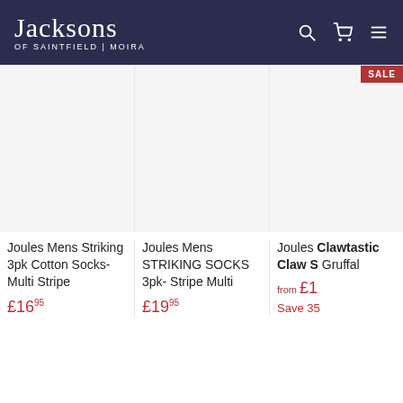Jacksons OF SAINTFIELD | MOIRA
[Figure (photo): Product image placeholder for Joules Mens Striking 3pk Cotton Socks- Multi Stripe]
Joules Mens Striking 3pk Cotton Socks- Multi Stripe
£16.95
[Figure (photo): Product image placeholder for Joules Mens STRIKING SOCKS 3pk- Stripe Multi]
Joules Mens STRIKING SOCKS 3pk- Stripe Multi
£19.95
[Figure (photo): Product image placeholder for Joules Clawtastic Claw Socks Gruffalo, with SALE badge]
Joules Clawtastic Claw Socks Gruffalo
from £1
Save 35